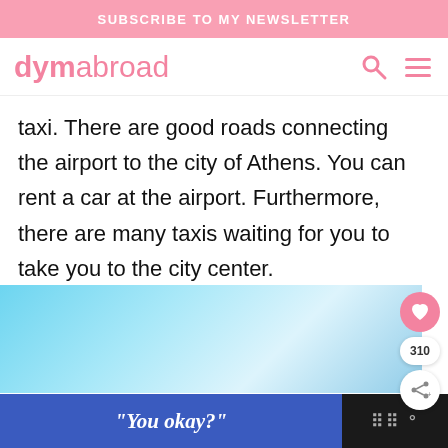SUBSCRIBE TO MY NEWSLETTER
dymabroad
taxi. There are good roads connecting the airport to the city of Athens. You can rent a car at the airport. Furthermore, there are many taxis waiting for you to take you to the city center.
[Figure (photo): Turquoise and light blue gradient background image, likely a travel-related photo (sky or sea).]
“You okay?”